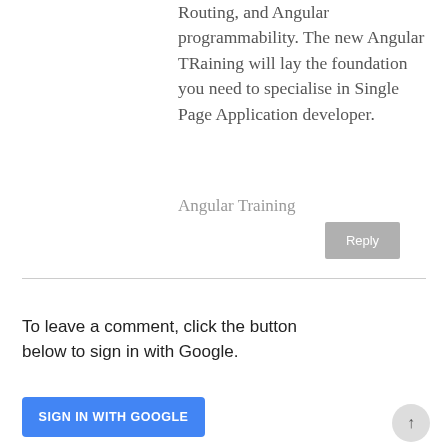Routing, and Angular programmability. The new Angular TRaining will lay the foundation you need to specialise in Single Page Application developer.
Angular Training
Reply
To leave a comment, click the button below to sign in with Google.
SIGN IN WITH GOOGLE